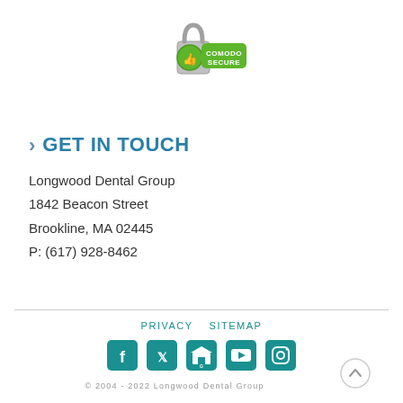[Figure (logo): Comodo Secure badge with padlock and thumbs up icon]
> GET IN TOUCH
Longwood Dental Group
1842 Beacon Street
Brookline, MA 02445
P: (617) 928-8462
PRIVACY   SITEMAP
[Figure (infographic): Social media icons: Facebook, Twitter, Google My Business, YouTube, Instagram]
© 2004 - 2022 Longwood Dental Group